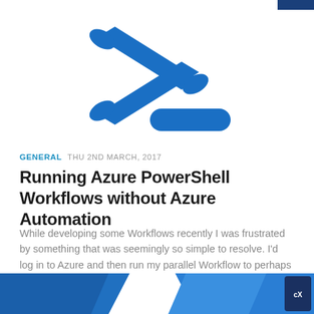[Figure (logo): PowerShell blue logo icon — a stylized blue '>' chevron/arrow and a blue underscore/dash on white background]
GENERAL  THU 2ND MARCH, 2017
Running Azure PowerShell Workflows without Azure Automation
While developing some Workflows recently I was frustrated by something that was seemingly so simple to resolve. I'd log in to Azure and then run my parallel Workflow to perhaps start up a set...
[Figure (illustration): Partial bottom strip showing blue diagonal shapes and a dark circular badge with white text, partially cropped]